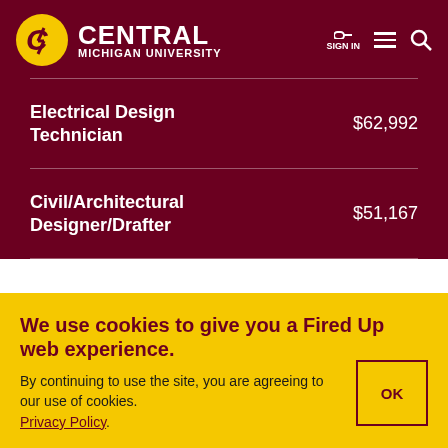Central Michigan University — SIGN IN
| Position | Salary |
| --- | --- |
| Electrical Design Technician | $62,992 |
| Civil/Architectural Designer/Drafter | $51,167 |
We use cookies to give you a Fired Up web experience.
By continuing to use the site, you are agreeing to our use of cookies. Privacy Policy.